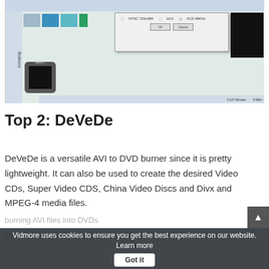[Figure (screenshot): Screenshot of a DVD authoring software interface showing color swatches, a settings dialog with OK and Cancel buttons, and a menu thumbnail preview. Status bar shows '0:127 Minutes' and '8 MB/s'.]
Top 2: DeVeDe
DeVeDe is a versatile AVI to DVD burner since it is pretty lightweight. It can also be used to create the desired Video CDs, Super Video CDS, China Video Discs and Divx and MPEG-4 media files.
Pros
Vidmore uses cookies to ensure you get the best experience on our website. Learn more  Got it